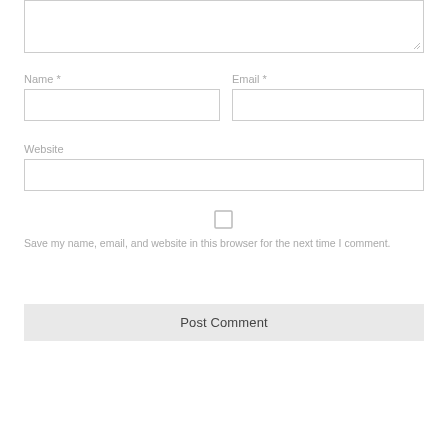[Figure (screenshot): Comment form textarea at top, partially visible, with resize handle at bottom-right corner]
Name *
[Figure (screenshot): Name input text field, empty]
Email *
[Figure (screenshot): Email input text field, empty]
Website
[Figure (screenshot): Website input text field, empty, full width]
[Figure (screenshot): Checkbox (unchecked) for saving name/email/website]
Save my name, email, and website in this browser for the next time I comment.
[Figure (screenshot): Post Comment button, gray background]